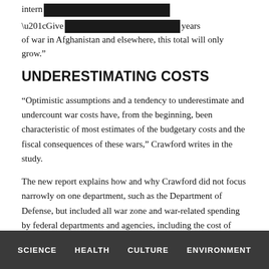intern[REDACTED]
“Give[REDACTED]years of war in Afghanistan and elsewhere, this total will only grow.”
UNDERESTIMATING COSTS
“Optimistic assumptions and a tendency to underestimate and undercount war costs have, from the beginning, been characteristic of most estimates of the budgetary costs and the fiscal consequences of these wars,” Crawford writes in the study.
The new report explains how and why Crawford did not focus narrowly on one department, such as the Department of Defense, but included all war zone and war-related spending by federal departments and agencies, including the cost of interest after the
SCIENCE   HEALTH   CULTURE   ENVIRONMENT